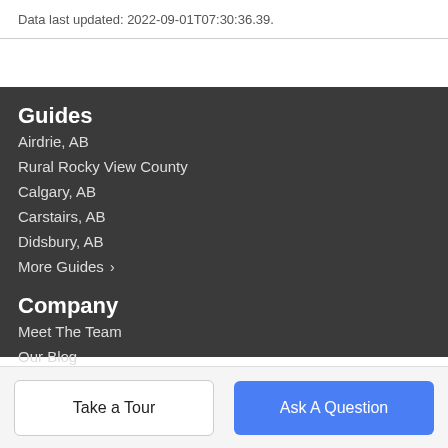Data last updated: 2022-09-01T07:30:36.39.
Guides
Airdrie, AB
Rural Rocky View County
Calgary, AB
Carstairs, AB
Didsbury, AB
More Guides ›
Company
Meet The Team
Our Blog
Contact Us
Take a Tour | Ask A Question